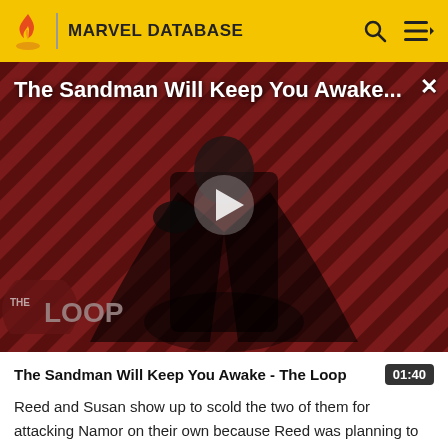MARVEL DATABASE
[Figure (screenshot): Video thumbnail showing a dark-cloaked figure (Sandman) against a red and black diagonal striped background. Title overlay reads 'The Sandman Will Keep You Awake...' with a play button in the center and THE LOOP logo in the lower left.]
The Sandman Will Keep You Awake - The Loop
Reed and Susan show up to scold the two of them for attacking Namor on their own because Reed was planning to meet with Namor and make peace. To add to the